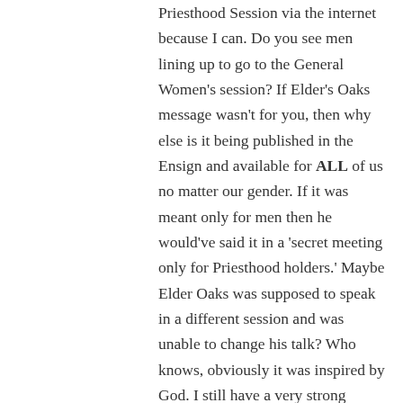Priesthood Session via the internet because I can. Do you see men lining up to go to the General Women's session? If Elder's Oaks message wasn't for you, then why else is it being published in the Ensign and available for ALL of us no matter our gender. If it was meant only for men then he would've said it in a 'secret meeting only for Priesthood holders.' Maybe Elder Oaks was supposed to speak in a different session and was unable to change his talk? Who knows, obviously it was inspired by God. I still have a very strong testimony in this church and am grateful for modern day revelations.
Reply
Caroline  April 8, 2014 at 6:10 am
“Do you see men lining up to go to the General Women’s session?”

Nope. Any man who wants to is welcome to come inside the conference center and attend the General Women’s session. When they come, they’re also like the...